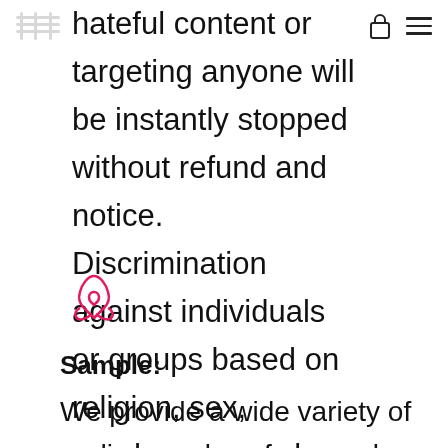[Figure (logo): Wavy pattern logo icon in gray at top left, with lock and hamburger menu icons at top right]
hateful content or targeting anyone will be instantly stopped without refund and notice. Discrimination against individuals or groups based on religion, sex, gender, race, color, or ethnic origin has no place.
[Figure (logo): Airbnb red logo icon]
Sample:
We provide a wide variety of audio samples of our work. The examples